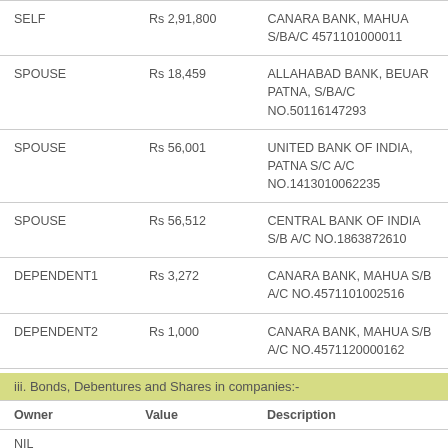| Owner | Value | Description |
| --- | --- | --- |
| SELF | Rs 2,91,800 | CANARA BANK, MAHUA S/BA/C 4571101000011 |
| SPOUSE | Rs 18,459 | ALLAHABAD BANK, BEUAR PATNA, S/BA/C NO.50116147293 |
| SPOUSE | Rs 56,001 | UNITED BANK OF INDIA, PATNA S/C A/C NO.1413010062235 |
| SPOUSE | Rs 56,512 | CENTRAL BANK OF INDIA S/B A/C NO.1863872610 |
| DEPENDENT1 | Rs 3,272 | CANARA BANK, MAHUA S/B A/C NO.4571101002516 |
| DEPENDENT2 | Rs 1,000 | CANARA BANK, MAHUA S/B A/C NO.4571120000162 |
iii. Bonds, Debentures and Shares in companies:-
| Owner | Value | Description |
| --- | --- | --- |
| NIL |  |  |